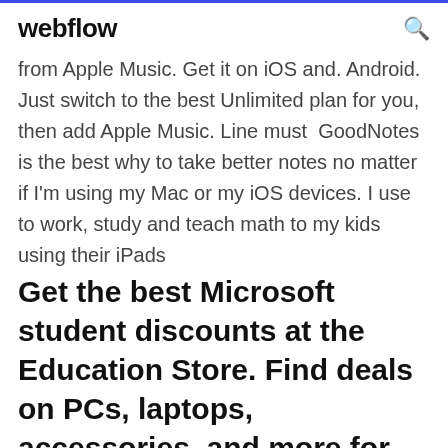webflow
from Apple Music. Get it on iOS and. Android. Just switch to the best Unlimited plan for you, then add Apple Music. Line must  GoodNotes is the best why to take better notes no matter if I'm using my Mac or my iOS devices. I use to work, study and teach math to my kids using their iPads
Get the best Microsoft student discounts at the Education Store. Find deals on PCs, laptops, accessories, and more for students right now from Surface